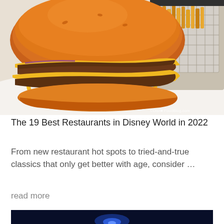[Figure (photo): Close-up photo of a double cheeseburger with melted yellow cheese on a toasted brioche bun, served on a white plate with a metal wire basket of fries in the background. Watermark: ©DisneyFoodBlog.com]
The 19 Best Restaurants in Disney World in 2022
From new restaurant hot spots to tried-and-true classics that only get better with age, consider …
read more
[Figure (photo): Dark blue-toned photo, partially visible at page bottom, appears to show a nighttime or dimly lit scene with blue light]